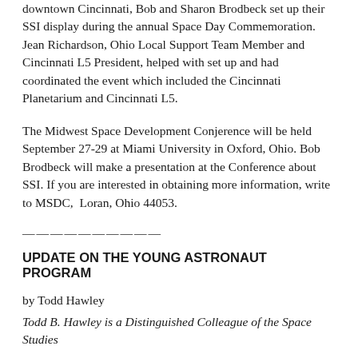downtown Cincinnati, Bob and Sharon Brodbeck set up their SSI display during the annual Space Day Commemoration. Jean Richardson, Ohio Local Support Team Member and Cincinnati L5 President, helped with set up and had coordinated the event which included the Cincinnati Planetarium and Cincinnati L5.
The Midwest Space Development Conjerence will be held September 27-29 at Miami University in Oxford, Ohio. Bob Brodbeck will make a presentation at the Conference about SSI. If you are interested in obtaining more information, write to MSDC,  Loran, Ohio 44053.
——————————
UPDATE ON THE YOUNG ASTRONAUT PROGRAM
by Todd Hawley
Todd B. Hawley is a Distinguished Colleague of the Space Studies Institute, President of the SSI Alumni Association Chapter...